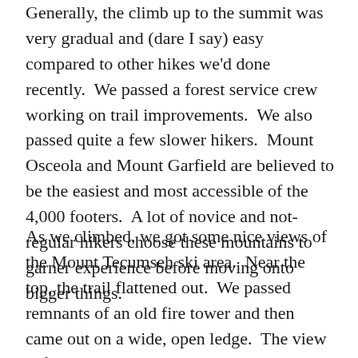Generally, the climb up to the summit was very gradual and (dare I say) easy compared to other hikes we'd done recently. We passed a forest service crew working on trail improvements. We also passed quite a few slower hikers. Mount Osceola and Mount Garfield are believed to be the easiest and most accessible of the 4,000 footers. A lot of novice and not-regular hikers choose these mountains to garner experience before moving onto bigger things.
As we climbed, we got some nice views of the Mount Tecumseh ski area. Near the top, the trail flattened out. We passed remnants of an old fire tower and then came out on a wide, open ledge. The view is first rate! I read somewhere that you can see 41 of 48 of New Hampshire's 4,000 footers from the summit.